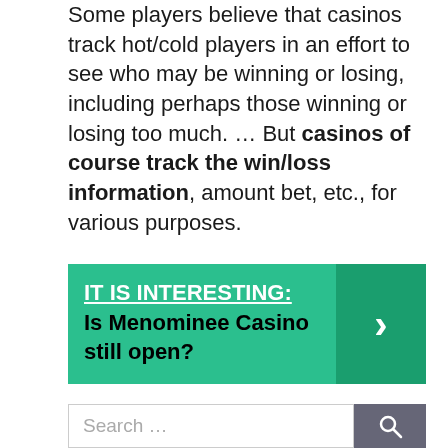Some players believe that casinos track hot/cold players in an effort to see who may be winning or losing, including perhaps those winning or losing too much. … But casinos of course track the win/loss information, amount bet, etc., for various purposes.
[Figure (infographic): Teal callout box with link text 'IT IS INTERESTING: Is Menominee Casino still open?' and a right arrow on a darker teal background on the right side.]
Other
Search ...